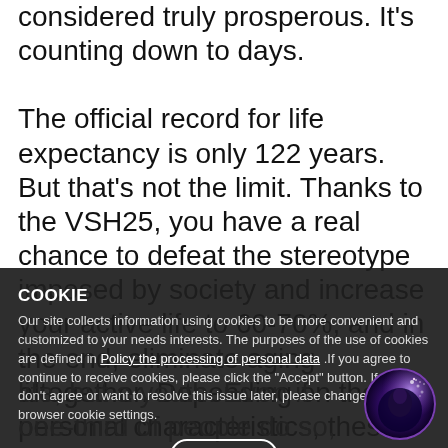considered truly prosperous. It's counting down to days.
The official record for life expectancy is only 122 years. But that's not the limit. Thanks to the VSH25, you have a real chance to defeat the stereotype imposed by society and increase your active life to 60-70%, and in the end, eliminate aging altogether. Depending on the personal characteristics, these indicators may be more or less. In addition, progress is affected by the length of time biological age is used.
COOKIE
Our site collects information using cookies to be more convenient and customized to your needs interests. The purposes of the use of cookies are defined in Policy the processing of personal data .If you agree to continue to receive cookies, please click the "Accept" button. If you don't agree or want to resolve this issue later, please change your browser cookie settings.
life, but a youth. Even if one-third of people do so, the world will completely alter for the better. This figure may be less, or it may grow